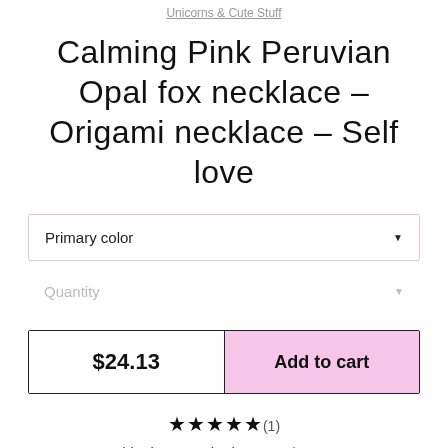Unicorns & Cute Stuff
Calming Pink Peruvian Opal fox necklace - Origami necklace - Self love
Primary color
Quantity
$24.13
Add to cart
★★★★★(1)
Shipping to United States: $12.37
Ask a question